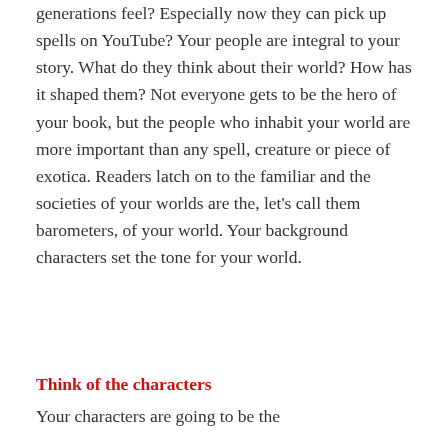generations feel? Especially now they can pick up spells on YouTube? Your people are integral to your story. What do they think about their world? How has it shaped them? Not everyone gets to be the hero of your book, but the people who inhabit your world are more important than any spell, creature or piece of exotica. Readers latch on to the familiar and the societies of your worlds are the, let's call them barometers, of your world. Your background characters set the tone for your world.
Think of the characters
Your characters are going to be the